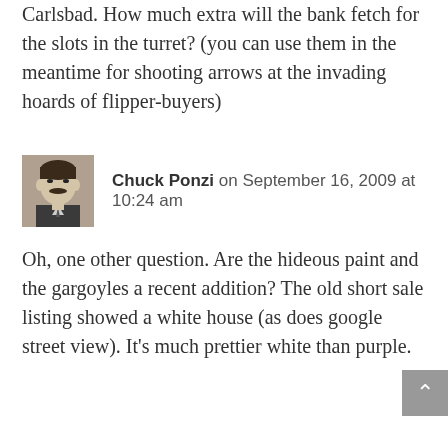Carlsbad. How much extra will the bank fetch for the slots in the turret? (you can use them in the meantime for shooting arrows at the invading hoards of flipper-buyers)
[Figure (photo): Black and white portrait photo of a man in formal attire, used as commenter avatar]
Chuck Ponzi on September 16, 2009 at 10:24 am
Oh, one other question. Are the hideous paint and the gargoyles a recent addition? The old short sale listing showed a white house (as does google street view). It's much prettier white than purple.